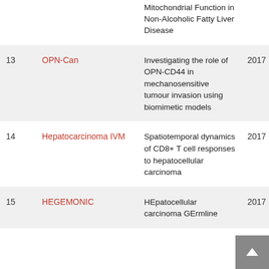| # | Name | Description | Year |
| --- | --- | --- | --- |
|  |  | Mitochondrial Function in Non-Alcoholic Fatty Liver Disease |  |
| 13 | OPN-Can | Investigating the role of OPN-CD44 in mechanosensitive tumour invasion using biomimetic models | 2017 |
| 14 | Hepatocarcinoma IVM | Spatiotemporal dynamics of CD8+ T cell responses to hepatocellular carcinoma | 2017 |
| 15 | HEGEMONIC | HEpatocellular carcinoma GErmline... | 2017 |